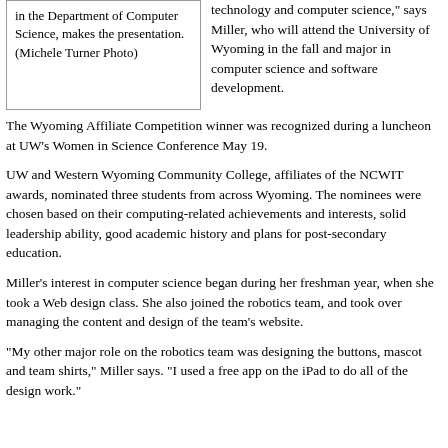in the Department of Computer Science, makes the presentation. (Michele Turner Photo)
technology and computer science," says Miller, who will attend the University of Wyoming in the fall and major in computer science and software development.
The Wyoming Affiliate Competition winner was recognized during a luncheon at UW's Women in Science Conference May 19.
UW and Western Wyoming Community College, affiliates of the NCWIT awards, nominated three students from across Wyoming. The nominees were chosen based on their computing-related achievements and interests, solid leadership ability, good academic history and plans for post-secondary education.
Miller's interest in computer science began during her freshman year, when she took a Web design class. She also joined the robotics team, and took over managing the content and design of the team's website.
“My other major role on the robotics team was designing the buttons, mascot and team shirts,” Miller says. “I used a free app on the iPad to do all of the design work."